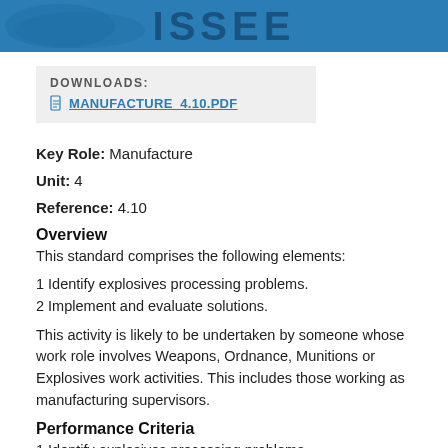[Figure (logo): ISSEE logo banner with blue background and bold dark blue text]
DOWNLOADS:
MANUFACTURE_4.10.PDF
Key Role:  Manufacture
Unit:  4
Reference:  4.10
Overview
This standard comprises the following elements:
1 Identify explosives processing problems.
2 Implement and evaluate solutions.
This activity is likely to be undertaken by someone whose work role involves Weapons, Ordnance, Munitions or Explosives work activities. This includes those working as manufacturing supervisors.
Performance Criteria
1 Identify explosives processing problems.